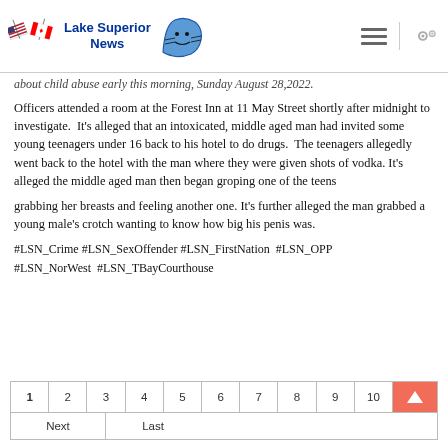Lake Superior News
about child abuse early this morning, Sunday August 28,2022.
Officers attended a room at the Forest Inn at 11 May Street shortly after midnight to investigate. It's alleged that an intoxicated, middle aged man had invited some young teenagers under 16 back to his hotel to do drugs. The teenagers allegedly went back to the hotel with the man where they were given shots of vodka. It's alleged the middle aged man then began groping one of the teens
grabbing her breasts and feeling another one. It's further alleged the man grabbed a young male's crotch wanting to know how big his penis was.
#LSN_Crime #LSN_SexOffender #LSN_FirstNation #LSN_OPP #LSN_NorWest #LSN_TBayCourthouse